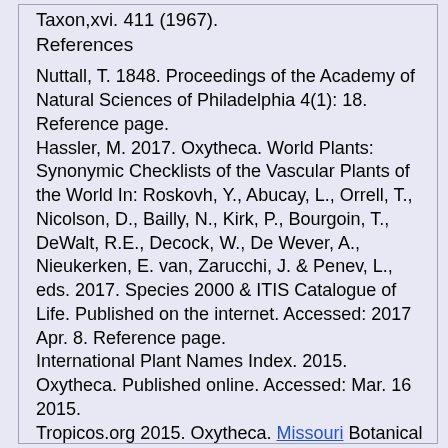Taxon,xvi. 411 (1967).
References
Nuttall, T. 1848. Proceedings of the Academy of Natural Sciences of Philadelphia 4(1): 18. Reference page.
Hassler, M. 2017. Oxytheca. World Plants: Synonymic Checklists of the Vascular Plants of the World In: Roskovh, Y., Abucay, L., Orrell, T., Nicolson, D., Bailly, N., Kirk, P., Bourgoin, T., DeWalt, R.E., Decock, W., De Wever, A., Nieukerken, E. van, Zarucchi, J. & Penev, L., eds. 2017. Species 2000 & ITIS Catalogue of Life. Published on the internet. Accessed: 2017 Apr. 8. Reference page.
International Plant Names Index. 2015. Oxytheca. Published online. Accessed: Mar. 16 2015.
Tropicos.org 2015. Oxytheca. Missouri Botanical Garden. Published on the internet. Accessed: 2015 Mar.